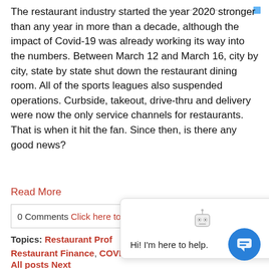The restaurant industry started the year 2020 stronger than any year in more than a decade, although the impact of Covid-19 was already working its way into the numbers. Between March 12 and March 16, city by city, state by state shut down the restaurant dining room. All of the sports leagues also suspended operations. Curbside, takeout, drive-thru and delivery were now the only service channels for restaurants. That is when it hit the fan. Since then, is there any good news?
Read More
0 Comments Click here to
Topics: Restaurant Prof Restaurant Finance, COVID-19 Restaurant Impact
All posts Next